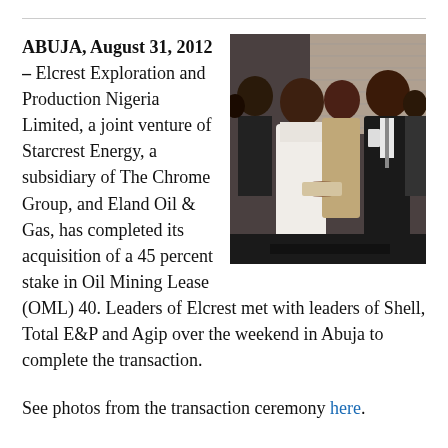ABUJA, August 31, 2012 – Elcrest Exploration and Production Nigeria Limited, a joint venture of Starcrest Energy, a subsidiary of The Chrome Group, and Eland Oil & Gas, has completed its acquisition of a 45 percent stake in Oil Mining Lease (OML) 40. Leaders of Elcrest met with leaders of Shell, Total E&P and Agip over the weekend in Abuja to complete the transaction.
[Figure (photo): Photo of officials at a transaction ceremony, including people shaking hands and exchanging documents]
See photos from the transaction ceremony here.
Elcrest had applied for consent of the Minister of Petroleum for the 45 percent participation interest...